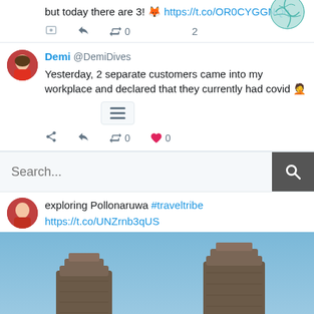but today there are 3! 🦊 https://t.co/OR0CYGGNQq
[Figure (screenshot): Twitter action bar with reply, retweet (0), and number 2 icons, plus a globe emoji overlay]
Demi @DemiDives
Yesterday, 2 separate customers came into my workplace and declared that they currently had covid 🤦
[Figure (screenshot): Twitter action bar with share, reply, retweet (0), and heart (0) icons]
[Figure (screenshot): Search bar with placeholder 'Search...' and a dark search button with magnifier icon]
exploring Pollonaruwa #traveltribe https://t.co/UNZrnb3qUS
[Figure (photo): Photo of ancient ruins (tall stone towers/columns) against a clear blue sky at Polonnaruwa, Sri Lanka]